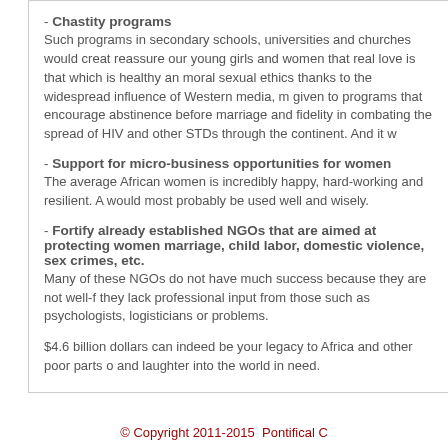- Chastity programs
Such programs in secondary schools, universities and churches would create reassure our young girls and women that real love is that which is healthy and moral sexual ethics thanks to the widespread influence of Western media, m given to programs that encourage abstinence before marriage and fidelity in combating the spread of HIV and other STDs through the continent. And it w
- Support for micro-business opportunities for women
The average African women is incredibly happy, hard-working and resilient. A would most probably be used well and wisely.
- Fortify already established NGOs that are aimed at protecting women marriage, child labor, domestic violence, sex crimes, etc.
Many of these NGOs do not have much success because they are not well-f they lack professional input from those such as psychologists, logisticians or problems.
$4.6 billion dollars can indeed be your legacy to Africa and other poor parts of and laughter into the world in need.
© Copyright 2011-2015  Pontifical C